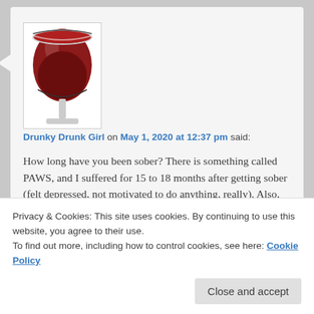[Figure (photo): Close-up photo of a red wine glass with deep red wine, white background]
Drunky Drunk Girl on May 1, 2020 at 12:37 pm said:
How long have you been sober? There is something called PAWS, and I suffered for 15 to 18 months after getting sober (felt depressed, not motivated to do anything, really). Also, what about perimenopause? I know that declining female hormones can cause depression and anxiety… Also, there is something akin to withdrawal off of SSRIs (and maybe other antidepressants)–good
Privacy & Cookies: This site uses cookies. By continuing to use this website, you agree to their use.
To find out more, including how to control cookies, see here: Cookie Policy
Close and accept